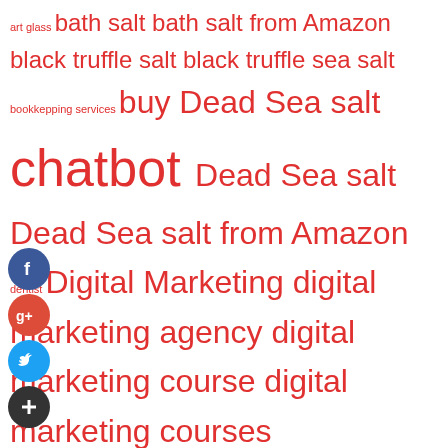[Figure (other): Tag cloud with various keyword terms in different font sizes, all in red/crimson color. Terms include: art glass, bath salt, bath salt from Amazon, black truffle salt, black truffle sea salt, bookkepping services, buy Dead Sea salt, chatbot, Dead Sea salt, Dead Sea salt from Amazon, dentist, Digital Marketing, digital marketing agency, digital marketing course, digital marketing courses, Facebook Chatbot, Facebook Messenger Bot, glass paint, Himalayan pink salt, Himalayan salt, kosher salt, locksmith, marketing, marketing automation course, marketing courses, Messenger Bot, online marketing courses, Personal Injury Lawyer, Pink Himalayan salt, Pink salt]
[Figure (infographic): Four social media icons on the left side: Facebook (blue circle with f), Google+ (red circle with g+), Twitter (light blue circle with bird symbol), and Add/share (dark circle with +)]